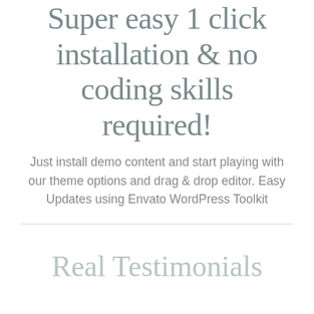Super easy 1 click installation & no coding skills required!
Just install demo content and start playing with our theme options and drag & drop editor. Easy Updates using Envato WordPress Toolkit
Real Testimonials